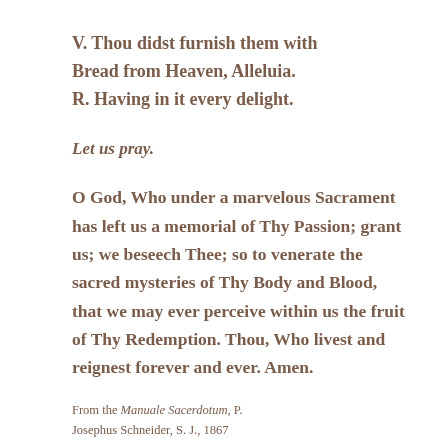V. Thou didst furnish them with
Bread from Heaven, Alleluia.
R. Having in it every delight.
Let us pray.
O God, Who under a marvelous Sacrament has left us a memorial of Thy Passion; grant us; we beseech Thee; so to venerate the sacred mysteries of Thy Body and Blood, that we may ever perceive within us the fruit of Thy Redemption. Thou, Who livest and reignest forever and ever. Amen.
From the Manuale Sacerdotum, P. Josephus Schneider, S. J., 1867